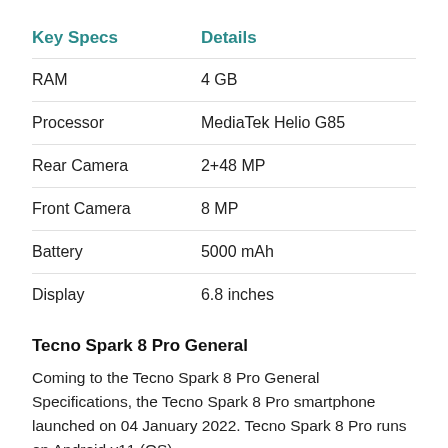| Key Specs | Details |
| --- | --- |
| RAM | 4 GB |
| Processor | MediaTek Helio G85 |
| Rear Camera | 2+48 MP |
| Front Camera | 8 MP |
| Battery | 5000 mAh |
| Display | 6.8 inches |
Tecno Spark 8 Pro General
Coming to the Tecno Spark 8 Pro General Specifications, the Tecno Spark 8 Pro smartphone launched on 04 January 2022. Tecno Spark 8 Pro runs on Android v11 (OS)